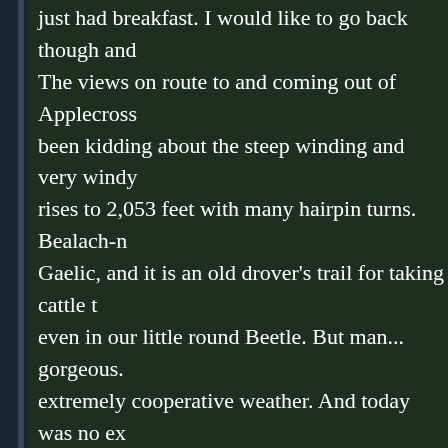just had breakfast. I would like to go back though and... The views on route to and coming out of Applecross been kidding about the steep winding and very windy rises to 2,053 feet with many hairpin turns. Bealach-n Gaelic, and it is an old drover's trail for taking cattle t even in our little round Beetle. But man... gorgeous. extremely cooperative weather. And today was no ex on. But the day was a touch misty over the ocean, a were pretty high up. It might have been nice to really still and all, I have nothing to complain about. And th and the wind, the sharp, grey day. We stopped a cou
We completed our loop, again passing Tornapress w Tornapress. Passed Shieldaig again, stopped for gas hotel. I had another apple in my room. Then we drov Torridon, passing as usual the ubiquitous sheep that country. I also spotted a raptor of some sort, almost l strong wind. My dad commented that considering ho there was surprisingly little lamb on the menus. I don with some explanation. My favorite was that all the sh